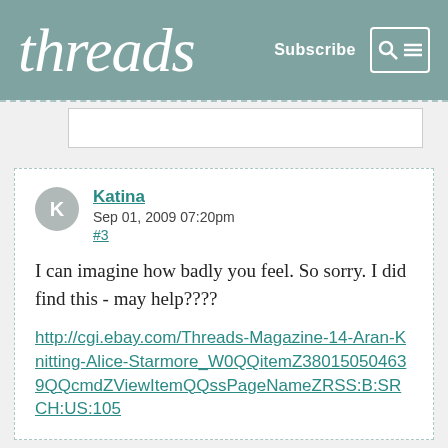threads | Subscribe
Katina
Sep 01, 2009 07:20pm
#3

I can imagine how badly you feel. So sorry. I did find this - may help????

http://cgi.ebay.com/Threads-Magazine-14-Aran-Knitting-Alice-Starmore_W0QQitemZ380150504639QQcmdZViewItemQQssPageNameZRSS:B:SRCH:US:105